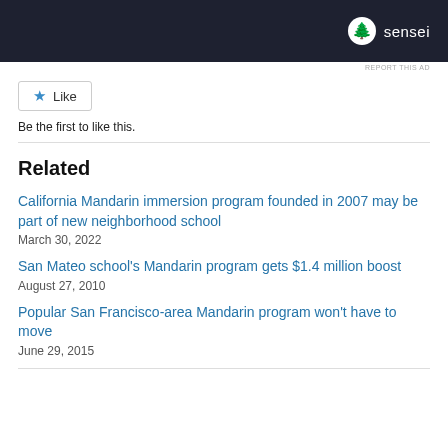[Figure (logo): Sensei logo on dark background banner — circular tree icon with white 'sensei' text]
REPORT THIS AD
[Figure (other): Like button with blue star icon and text 'Like']
Be the first to like this.
Related
California Mandarin immersion program founded in 2007 may be part of new neighborhood school
March 30, 2022
San Mateo school's Mandarin program gets $1.4 million boost
August 27, 2010
Popular San Francisco-area Mandarin program won't have to move
June 29, 2015